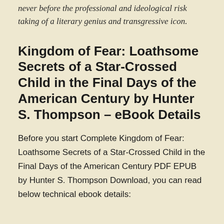never before the professional and ideological risk taking of a literary genius and transgressive icon.
Kingdom of Fear: Loathsome Secrets of a Star-Crossed Child in the Final Days of the American Century by Hunter S. Thompson – eBook Details
Before you start Complete Kingdom of Fear: Loathsome Secrets of a Star-Crossed Child in the Final Days of the American Century PDF EPUB by Hunter S. Thompson Download, you can read below technical ebook details: